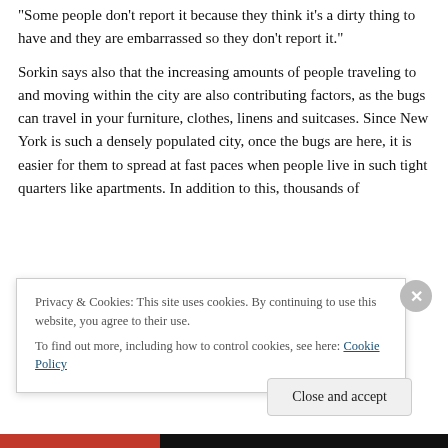“Some people don’t report it because they think it’s a dirty thing to have and they are embarrassed so they don’t report it.”
Sorkin says also that the increasing amounts of people traveling to and moving within the city are also contributing factors, as the bugs can travel in your furniture, clothes, linens and suitcases. Since New York is such a densely populated city, once the bugs are here, it is easier for them to spread at fast paces when people live in such tight quarters like apartments. In addition to this, thousands of
Privacy & Cookies: This site uses cookies. By continuing to use this website, you agree to their use.
To find out more, including how to control cookies, see here: Cookie Policy
Close and accept